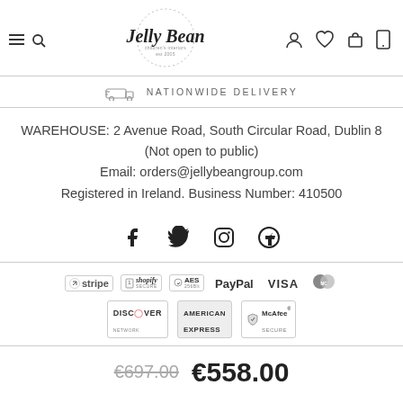Jelly Bean children's interiors est 2005
NATIONWIDE DELIVERY
WAREHOUSE: 2 Avenue Road, South Circular Road, Dublin 8 (Not open to public)
Email: orders@jellybeangroup.com
Registered in Ireland. Business Number: 410500
[Figure (infographic): Social media icons: Facebook, Twitter, Instagram, Pinterest]
[Figure (infographic): Payment badges: Stripe, Shopify Secure, AES 256Bit, PayPal, VISA, Mastercard, Discover Network, American Express, McAfee Secure]
€697.00  €558.00